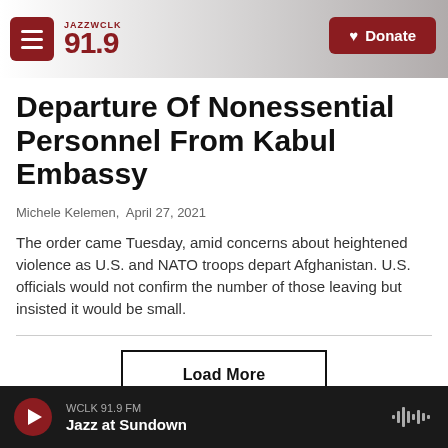JAZZ WCLK 91.9 — Donate
Departure Of Nonessential Personnel From Kabul Embassy
Michele Kelemen,  April 27, 2021
The order came Tuesday, amid concerns about heightened violence as U.S. and NATO troops depart Afghanistan. U.S. officials would not confirm the number of those leaving but insisted it would be small.
WCLK 91.9 FM — Jazz at Sundown